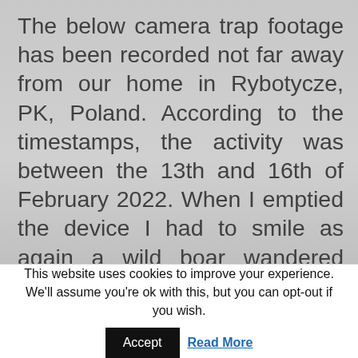The below camera trap footage has been recorded not far away from our home in Rybotycze, PK, Poland. According to the timestamps, the activity was between the 13th and 16th of February 2022. When I emptied the device I had to smile as again a wild boar wandered around the camera and eventually spotted it. I do believe that wild boars are extremely intelligent and way underestimated.
This website uses cookies to improve your experience. We'll assume you're ok with this, but you can opt-out if you wish.